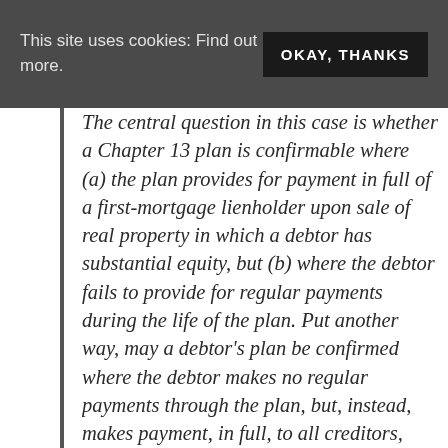This site uses cookies: Find out more. OKAY, THANKS
The central question in this case is whether a Chapter 13 plan is confirmable where (a) the plan provides for payment in full of a first-mortgage lienholder upon sale of real property in which a debtor has substantial equity, but (b) where the debtor fails to provide for regular payments during the life of the plan. Put another way, may a debtor's plan be confirmed where the debtor makes no regular payments through the plan, but, instead, makes payment, in full, to all creditors, secured or unsecured